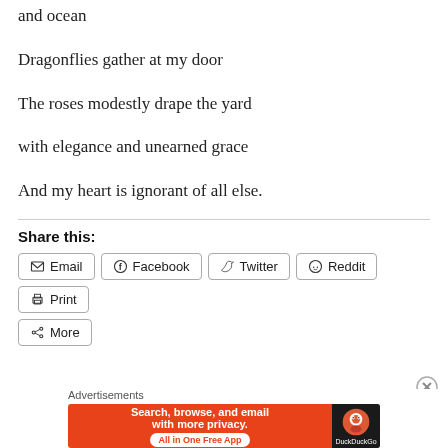and ocean
Dragonflies gather at my door
The roses modestly drape the yard
with elegance and unearned grace
And my heart is ignorant of all else.
Share this:
Email  Facebook  Twitter  Reddit  Print  More
[Figure (screenshot): DuckDuckGo advertisement banner: 'Search, browse, and email with more privacy. All in One Free App' with DuckDuckGo logo on dark background]